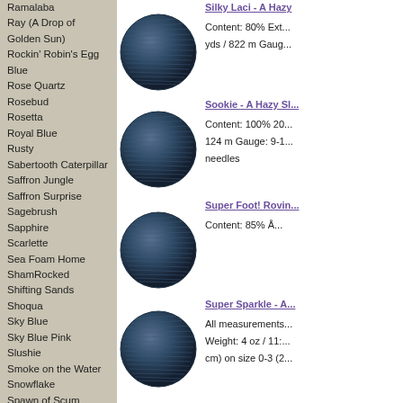Ramalaba
Ray (A Drop of Golden Sun)
Rockin' Robin's Egg Blue
Rose Quartz
Rosebud
Rosetta
Royal Blue
Rusty
Sabertooth Caterpillar
Saffron Jungle
Saffron Surprise
Sagebrush
Sapphire
Scarlette
Sea Foam Home
ShamRocked
Shifting Sands
Shoqua
Sky Blue
Sky Blue Pink
Slushie
Smoke on the Water
Snowflake
Spawn of Scum
Spinel
Spores
Spruced
Star Sapphire
[Figure (photo): Ball of dark blue/navy yarn - Silky Laci product]
Silky Laci - A Hazy S... Content: 80% Ext... yds / 822 m Gaug...
[Figure (photo): Ball of dark blue/navy yarn - Sookie product]
Sookie - A Hazy Sl... Content: 100% 20... 124 m Gauge: 9-1... needles
[Figure (photo): Ball of dark blue/navy yarn - Super Foot! Roving product]
Super Foot! Rovin... Content: 85% Å...
[Figure (photo): Ball of dark blue/navy yarn - Super Sparkle product]
Super Sparkle - A... All measurements... Weight: 4 oz / 11:... cm) on size 0-3 (2...